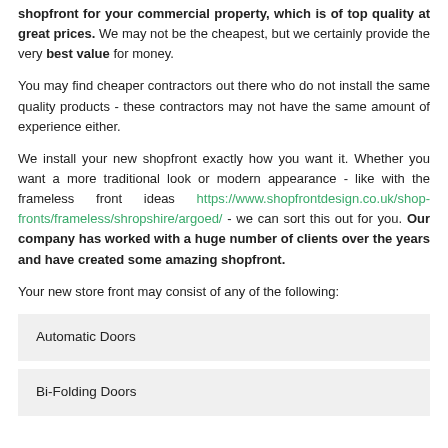shopfront for your commercial property, which is of top quality at great prices. We may not be the cheapest, but we certainly provide the very best value for money.
You may find cheaper contractors out there who do not install the same quality products - these contractors may not have the same amount of experience either.
We install your new shopfront exactly how you want it. Whether you want a more traditional look or modern appearance - like with the frameless front ideas https://www.shopfrontdesign.co.uk/shop-fronts/frameless/shropshire/argoed/ - we can sort this out for you. Our company has worked with a huge number of clients over the years and have created some amazing shopfront.
Your new store front may consist of any of the following:
Automatic Doors
Bi-Folding Doors